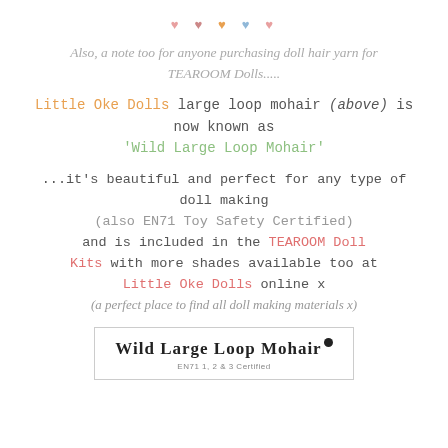[Figure (illustration): Decorative hearts row: pink, dark pink, orange, blue, pink]
Also, a note too for anyone purchasing doll hair yarn for TEAROOM Dolls.....
Little Oke Dolls large loop mohair (above) is now known as 'Wild Large Loop Mohair'
...it's beautiful and perfect for any type of doll making (also EN71 Toy Safety Certified) and is included in the TEAROOM Doll Kits with more shades available too at Little Oke Dolls online x (a perfect place to find all doll making materials x)
[Figure (logo): Wild Large Loop Mohair logo with EN71 1, 2 & 3 Certified text]